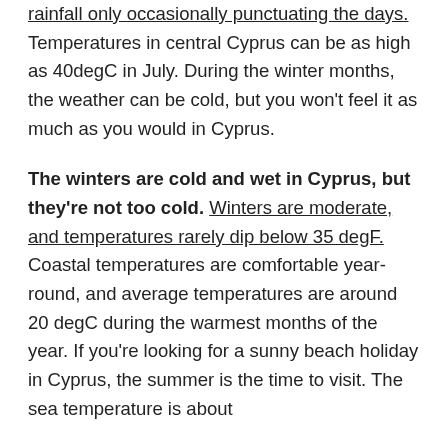rainfall only occasionally punctuating the days. Temperatures in central Cyprus can be as high as 40degC in July. During the winter months, the weather can be cold, but you won't feel it as much as you would in Cyprus.
The winters are cold and wet in Cyprus, but they're not too cold. Winters are moderate, and temperatures rarely dip below 35 degF. Coastal temperatures are comfortable year-round, and average temperatures are around 20 degC during the warmest months of the year. If you're looking for a sunny beach holiday in Cyprus, the summer is the time to visit. The sea temperature is about